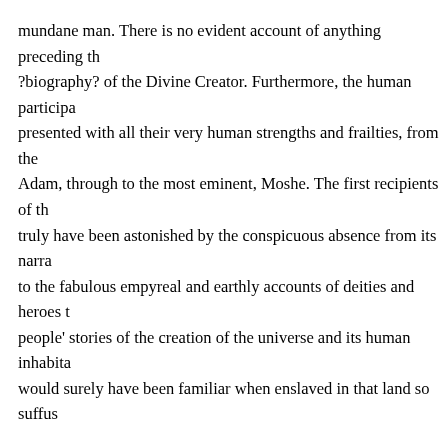mundane man. There is no evident account of anything preceding th ?biography? of the Divine Creator. Furthermore, the human participa presented with all their very human strengths and frailties, from the Adam, through to the most eminent, Moshe. The first recipients of th truly have been astonished by the conspicuous absence from its narra to the fabulous empyreal and earthly accounts of deities and heroes t people' stories of the creation of the universe and its human inhabita would surely have been familiar when enslaved in that land so suffus
Judaism Anti-Mythic
As if to emphasize what then would have been most obvious both to their often hostile neighbors was the anti-mythic medium of the Tora extraordinarily conspicuous difference between the literary format o sophisticated pagan mythologies that characterize the civilizations o the various Mesopotamian cultures, post-Torah Magian Persians, an Greeks. While the mythic creation accounts of all the latter are invar Torah narrative is startling for its insistence on presenting its narrativ